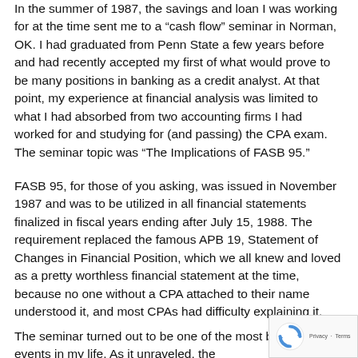In the summer of 1987, the savings and loan I was working for at the time sent me to a "cash flow" seminar in Norman, OK. I had graduated from Penn State a few years before and had recently accepted my first of what would prove to be many positions in banking as a credit analyst. At that point, my experience at financial analysis was limited to what I had absorbed from two accounting firms I had worked for and studying for (and passing) the CPA exam. The seminar topic was “The Implications of FASB 95.”
FASB 95, for those of you asking, was issued in November 1987 and was to be utilized in all financial statements finalized in fiscal years ending after July 15, 1988. The requirement replaced the famous APB 19, Statement of Changes in Financial Position, which we all knew and loved as a pretty worthless financial statement at the time, because no one without a CPA attached to their name understood it, and most CPAs had difficulty explaining it.
The seminar turned out to be one of the most beneficial events in my life. As it unraveled, the